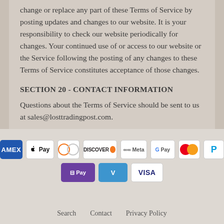change or replace any part of these Terms of Service by posting updates and changes to our website. It is your responsibility to check our website periodically for changes. Your continued use of or access to our website or the Service following the posting of any changes to these Terms of Service constitutes acceptance of those changes.
SECTION 20 - CONTACT INFORMATION
Questions about the Terms of Service should be sent to us at sales@losttradingpost.com.
[Figure (infographic): Payment method icons: American Express, Apple Pay, Diners Club, Discover, Meta Pay, Google Pay, Mastercard, PayPal (top row); Shop Pay, Venmo, Visa (bottom row)]
Search   Contact   Privacy Policy